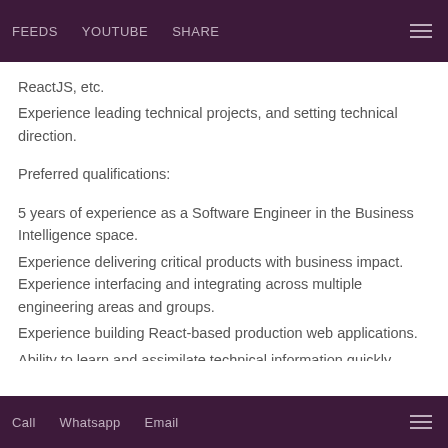FEEDS  YOUTUBE  SHARE
ReactJS, etc.
Experience leading technical projects, and setting technical direction.
Preferred qualifications:
5 years of experience as a Software Engineer in the Business Intelligence space.
Experience delivering critical products with business impact. Experience interfacing and integrating across multiple engineering areas and groups.
Experience building React-based production web applications.
Ability to learn and assimilate technical information quickly
Call  Whatsapp  Email